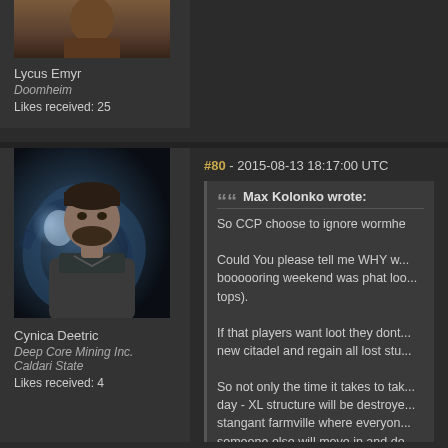[Figure (photo): Top avatar - partially visible character portrait with brown/orange tones]
Lycus Emyr
Doomheim
Likes received: 25
#80 - 2015-08-13 18:17:00 UTC
[Figure (photo): Cynica Deetric character portrait - male figure with dark hair and beard against dark swirling background with blue light]
Cynica Deetric
Deep Core Mining Inc.
Caldari State
Likes received: 4
Max Kolonko wrote:
So CCP choose to ignore wormhe

Could You please tell me WHY w... boooooring weekend was phat loo... tops).

If that players want loot they dont... new citadel and regain all lost stu...

So not only the time it takes to tak... day - XL structure will be destroye... stangant farmville where everyon... someone else will move in and de...